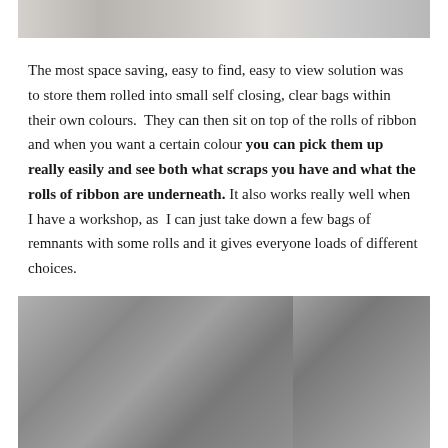[Figure (photo): Top portion of a photo showing ribbon or similar craft material, cropped at top of page]
The most space saving, easy to find, easy to view solution was to store them rolled into small self closing, clear bags within their own colours.  They can then sit on top of the rolls of ribbon and when you want a certain colour you can pick them up really easily and see both what scraps you have and what the rolls of ribbon are underneath. It also works really well when I have a workshop, as I can just take down a few bags of remnants with some rolls and it gives everyone loads of different choices.
[Figure (photo): Two black and white photos side by side showing hands holding ribbon or thread material]